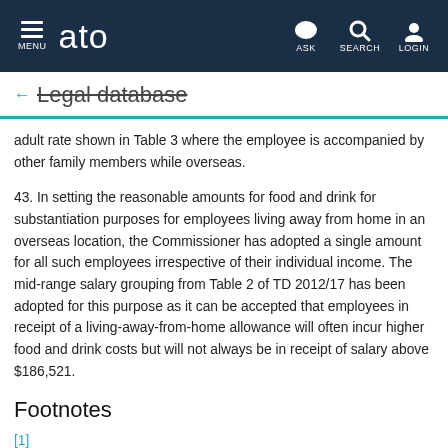MENU  ato  ASK  SEARCH  LOGIN
← Legal database
adult rate shown in Table 3 where the employee is accompanied by other family members while overseas.
43. In setting the reasonable amounts for food and drink for substantiation purposes for employees living away from home in an overseas location, the Commissioner has adopted a single amount for all such employees irrespective of their individual income. The mid-range salary grouping from Table 2 of TD 2012/17 has been adopted for this purpose as it can be accepted that employees in receipt of a living-away-from-home allowance will often incur higher food and drink costs but will not always be in receipt of salary above $186,521.
Footnotes
[1]